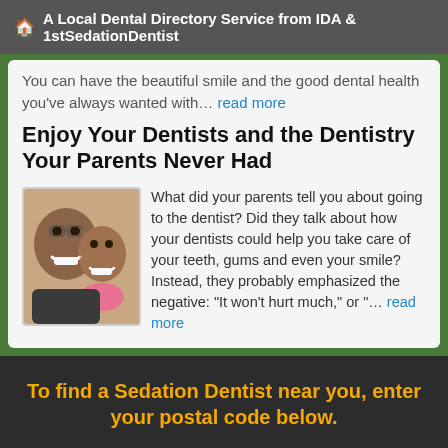A Local Dental Directory Service from IDA & 1stSedationDentist
You can have the beautiful smile and the good dental health you've always wanted with… read more
Enjoy Your Dentists and the Dentistry Your Parents Never Had
[Figure (photo): Photo of a smiling man and a smiling young girl, cheek to cheek]
What did your parents tell you about going to the dentist? Did they talk about how your dentists could help you take care of your teeth, gums and even your smile? Instead, they probably emphasized the negative: "It won't hurt much," or "… read more
To find a Sedation Dentist near you, enter your postal code below.
Enter Your Postal Code Here